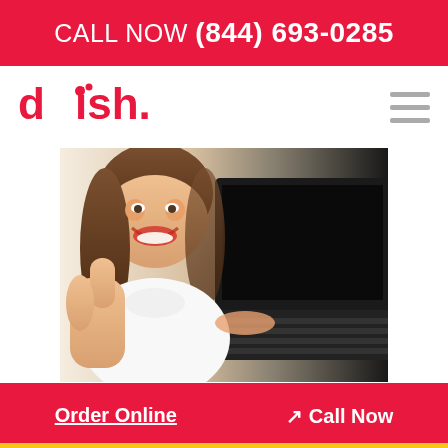CALL NOW (844) 693-0285
[Figure (logo): DISH Network logo in red with stylized satellite dish dots on the letter 'i']
[Figure (photo): Smiling woman giving thumbs up gesture while using a laptop computer]
BUNDLE YOUR DISH TV WITH
Order Online  / Call Now